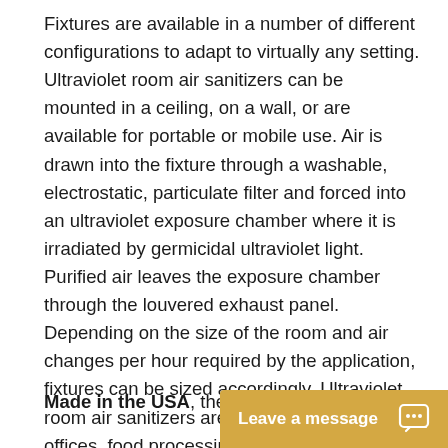Fixtures are available in a number of different configurations to adapt to virtually any setting. Ultraviolet room air sanitizers can be mounted in a ceiling, on a wall, or are available for portable or mobile use. Air is drawn into the fixture through a washable, electrostatic, particulate filter and forced into an ultraviolet exposure chamber where it is irradiated by germicidal ultraviolet light. Purified air leaves the exposure chamber through the louvered exhaust panel. Depending on the size of the room and air changes per hour required by the application, fixtures can be sized accordingly. Ultraviolet room air sanitizers are excellent for homes, offices, food processing, pharmaceutical manufacturing facilities, dairy plants, bakeries, homeless shelters, prisons, auditoriums, waiting rooms, and hospitals.
Made in the USA, the U[...]